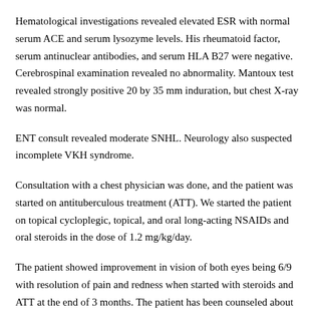Hematological investigations revealed elevated ESR with normal serum ACE and serum lysozyme levels. His rheumatoid factor, serum antinuclear antibodies, and serum HLA B27 were negative. Cerebrospinal examination revealed no abnormality. Mantoux test revealed strongly positive 20 by 35 mm induration, but chest X-ray was normal.
ENT consult revealed moderate SNHL. Neurology also suspected incomplete VKH syndrome.
Consultation with a chest physician was done, and the patient was started on antituberculous treatment (ATT). We started the patient on topical cycloplegic, topical, and oral long-acting NSAIDs and oral steroids in the dose of 1.2 mg/kg/day.
The patient showed improvement in vision of both eyes being 6/9 with resolution of pain and redness when started with steroids and ATT at the end of 3 months. The patient has been counseled about the possibility of recurrences and the need for regular evaluation. The patient is being followed up by multispecialty including neurology, dermatology, and ENT approach to discern VKH manifestations of later disease.